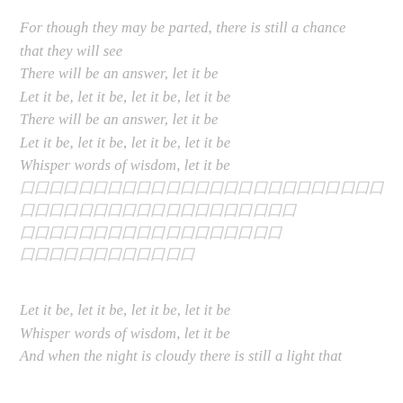For though they may be parted, there is still a chance that they will see
There will be an answer, let it be
Let it be, let it be, let it be, let it be
There will be an answer, let it be
Let it be, let it be, let it be, let it be
Whisper words of wisdom, let it be
[redacted lines]
Let it be, let it be, let it be, let it be
Whisper words of wisdom, let it be
And when the night is cloudy there is still a light that